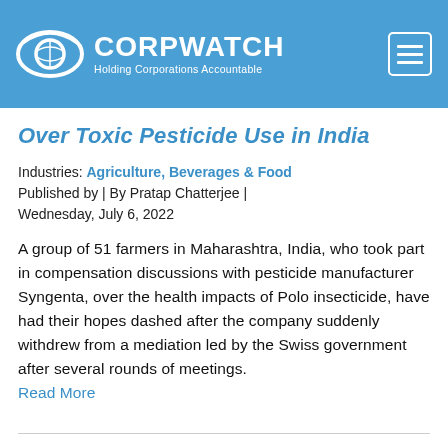CORPWATCH — Holding Corporations Accountable
Over Toxic Pesticide Use in India
Industries: Agriculture, Beverages & Food
Published by | By Pratap Chatterjee | Wednesday, July 6, 2022
A group of 51 farmers in Maharashtra, India, who took part in compensation discussions with pesticide manufacturer Syngenta, over the health impacts of Polo insecticide, have had their hopes dashed after the company suddenly withdrew from a mediation led by the Swiss government after several rounds of meetings. Read More